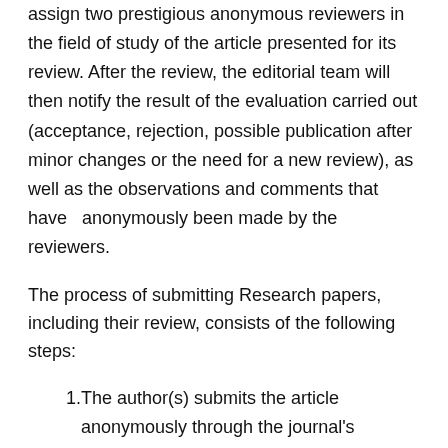assign two prestigious anonymous reviewers in the field of study of the article presented for its review. After the review, the editorial team will then notify the result of the evaluation carried out (acceptance, rejection, possible publication after minor changes or the need for a new review), as well as the observations and comments that have  anonymously been made by the reviewers.
The process of submitting Research papers, including their review, consists of the following steps:
The author(s) submits the article anonymously through the journal's website, being necessary to be registered on the publication's website.
After receiving the proposal, the editorial team carries out a first verification that it complies with